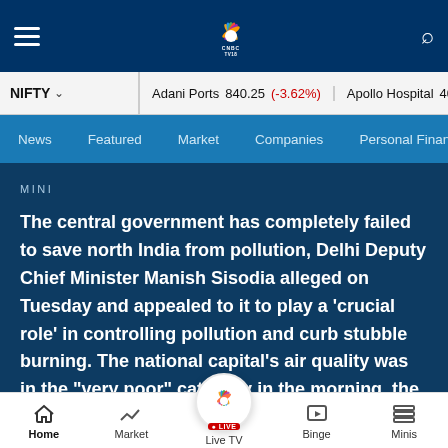CNBC TV18 — hamburger menu, logo, search icon
NIFTY | Adani Ports 840.25 (-3.62%) | Apollo Hospital 4024.90 (-2...
News | Featured | Market | Companies | Personal Finance
MINI
The central government has completely failed to save north India from pollution, Delhi Deputy Chief Minister Manish Sisodia alleged on Tuesday and appealed to it to play a 'crucial role' in controlling pollution and curb stubble burning. The national capital's air quality was in the "very poor" category in the morning, the first ti... this season, with calm
Home | Market | Live TV | Binge | Minis